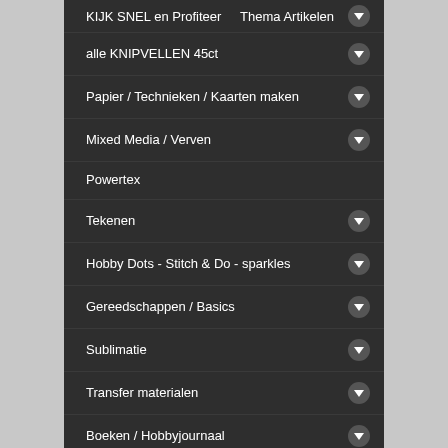KIJK SNEL en Profiteer   Thema Artikelen
alle KNIPVELLEN 45ct
Papier / Technieken / Kaarten maken
Mixed Media / Verven
Powertex
Tekenen
Hobby Dots - Stitch & Do - sparkles
Gereedschappen / Basics
Sublimatie
Transfer materialen
Boeken / Hobbyjournaal